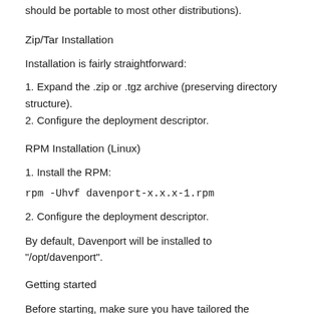should be portable to most other distributions).
Zip/Tar Installation
Installation is fairly straightforward:
1. Expand the .zip or .tgz archive (preserving directory structure).
2. Configure the deployment descriptor.
RPM Installation (Linux)
1. Install the RPM:
rpm -Uhvf davenport-x.x.x-1.rpm
2. Configure the deployment descriptor.
By default, Davenport will be installed to "/opt/davenport".
Getting started
Before starting, make sure you have tailored the deployment descriptor to your environment. After configuration is complete,